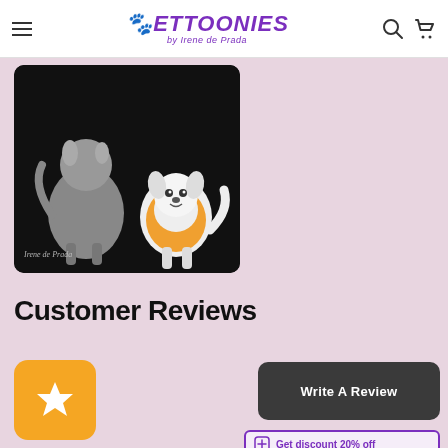Pettoonies by Irene de Prada
[Figure (illustration): Two illustrated cartoon dogs — a grey dog on the left and a white/orange dog on the right — against a black background with a handwritten artist signature 'Irene de Prada' at the bottom left.]
Customer Reviews
[Figure (other): Orange rounded square icon with a white star in the center — review rating icon]
Write A Review
Get discount 20% off